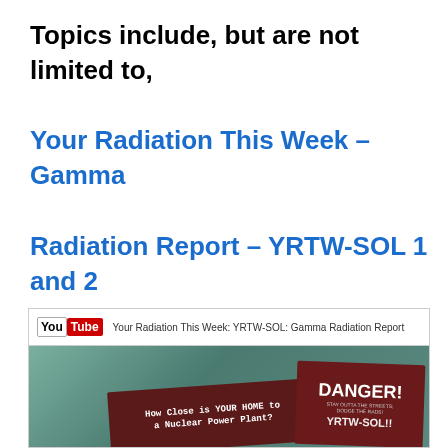Topics include, but are not limited to, Your Radiation This Week – Gamma Radiation Report – YRTW-SOL 1 and 2 with 52 cities reporting radiation more than 3,000 CPM.
[Figure (screenshot): YouTube video thumbnail showing 'Your Radiation This Week: YRTW-SOL: Gamma Radiation Report' with images of warning cards including 'How Close is YOUR HOME to a Nuclear Power Plant?' and 'DANGER! STAY OUTTA THE STREETS; DODGE THE RADS! YRTW-SOL!']